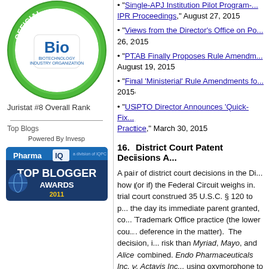[Figure (logo): Official Blogger Bio Biotechnology Industry Organization badge - green circular badge with 'OFFICIAL BLOGGER' text and Bio logo]
Juristat #8 Overall Rank
[Figure (logo): Top Blogs logo image]
Powered By Invesp
[Figure (logo): Pharma IQ Top Blogger Awards 2011 badge]
"Single-APJ Institution Pilot Program...IPR Proceedings," August 27, 2015
"Views from the Director's Office on Po... 26, 2015
"PTAB Finally Proposes Rule Amendm... August 19, 2015
"Final 'Ministerial' Rule Amendments fo... 2015
"USPTO Director Announces 'Quick-Fix... Practice," March 30, 2015
16.  District Court Patent Decisions A...
A pair of district court decisions in the Di... how (or if) the Federal Circuit weighs in. trial court construed 35 U.S.C. § 120 to p... the day its immediate parent granted, co... Trademark Office practice (the lower cou... deference in the matter). The decision, i... risk than Myriad, Mayo, and Alice combined. Endo Pharmaceuticals Inc. v. Actavis Inc... using oxymorphone to treat pain in patie... invalid under 35 U.S.C. § 101 as being d... relying heavily on the Supreme Court's...